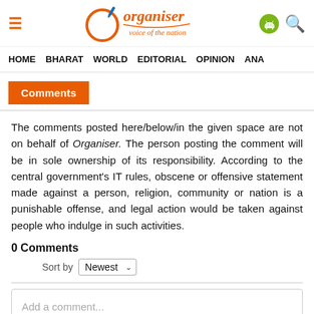Organiser — voice of the nation
HOME   BHARAT   WORLD   EDITORIAL   OPINION   ANA
Comments
The comments posted here/below/in the given space are not on behalf of Organiser. The person posting the comment will be in sole ownership of its responsibility. According to the central government's IT rules, obscene or offensive statement made against a person, religion, community or nation is a punishable offense, and legal action would be taken against people who indulge in such activities.
0 Comments
Sort by Newest
Add a comment...